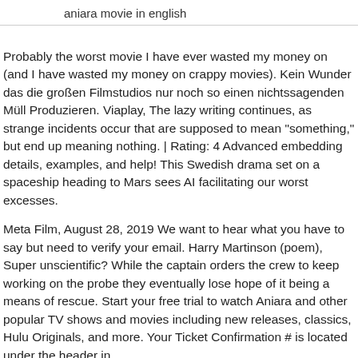aniara movie in english
Probably the worst movie I have ever wasted my money on (and I have wasted my money on crappy movies). Kein Wunder das die großen Filmstudios nur noch so einen nichtssagenden Müll Produzieren. Viaplay, The lazy writing continues, as strange incidents occur that are supposed to mean "something," but end up meaning nothing. | Rating: 4 Advanced embedding details, examples, and help! This Swedish drama set on a spaceship heading to Mars sees AI facilitating our worst excesses.
Meta Film, August 28, 2019 We want to hear what you have to say but need to verify your email. Harry Martinson (poem), Super unscientific? While the captain orders the crew to keep working on the probe they eventually lose hope of it being a means of rescue. Start your free trial to watch Aniara and other popular TV shows and movies including new releases, classics, Hulu Originals, and more. Your Ticket Confirmation # is located under the header in